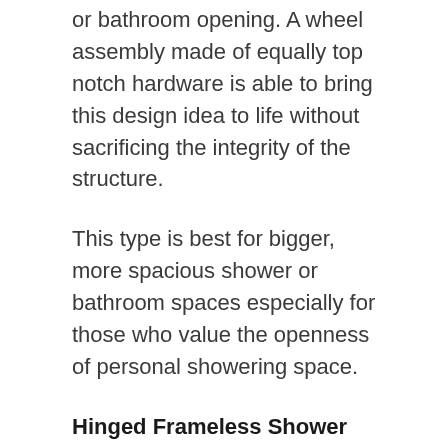or bathroom opening. A wheel assembly made of equally top notch hardware is able to bring this design idea to life without sacrificing the integrity of the structure.
This type is best for bigger, more spacious shower or bathroom spaces especially for those who value the openness of personal showering space.
Hinged Frameless Shower Door.
This type is the best fit for smaller bathroom spaces. It still has the same stable functionality of a high quality frameless shower door but without all the excess hardware. There is also no need for